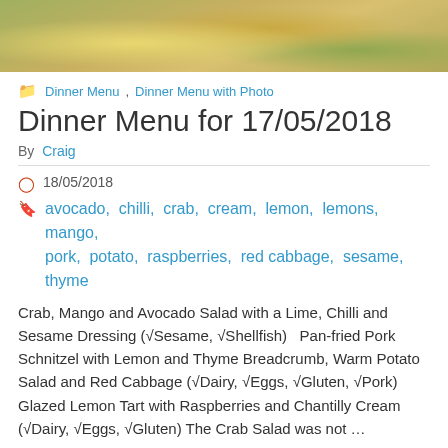[Figure (photo): Close-up photo of a food dish, appears to be a salad with grains and colorful vegetables including mango and greens]
Dinner Menu, Dinner Menu with Photo
Dinner Menu for 17/05/2018
By Craig
18/05/2018
avocado, chilli, crab, cream, lemon, lemons, mango, pork, potato, raspberries, red cabbage, sesame, thyme
Crab, Mango and Avocado Salad with a Lime, Chilli and Sesame Dressing (√Sesame, √Shellfish)   Pan-fried Pork Schnitzel with Lemon and Thyme Breadcrumb, Warm Potato Salad and Red Cabbage (√Dairy, √Eggs, √Gluten, √Pork) Glazed Lemon Tart with Raspberries and Chantilly Cream (√Dairy, √Eggs, √Gluten) The Crab Salad was not …